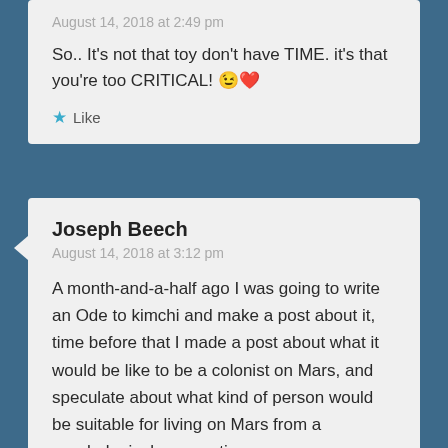August 14, 2018 at 2:49 pm
So.. It’s not that toy don’t have TIME. it’s that you’re too CRITICAL! 😉❤️
★ Like
Joseph Beech
August 14, 2018 at 3:12 pm
A month-and-a-half ago I was going to write an Ode to kimchi and make a post about it, time before that I made a post about what it would be like to be a colonist on Mars, and speculate about what kind of person would be suitable for living on Mars from a psychological perspective.
Ultimately the post became rather long so I stopped